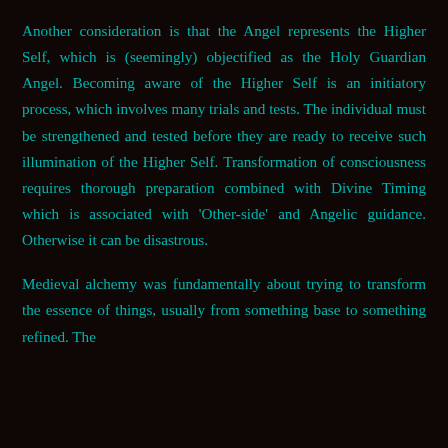Another consideration is that the Angel represents the Higher Self, which is (seemingly) objectified as the Holy Guardian Angel. Becoming aware of the Higher Self is an initiatory process, which involves many trials and tests. The individual must be strengthened and tested before they are ready to receive such illumination of the Higher Self. Transformation of consciousness requires thorough preparation combined with Divine Timing which is associated with 'Other-side' and Angelic guidance. Otherwise it can be disastrous.
Medieval alchemy was fundamentally about trying to transform the essence of things, usually from something base to something refined. The